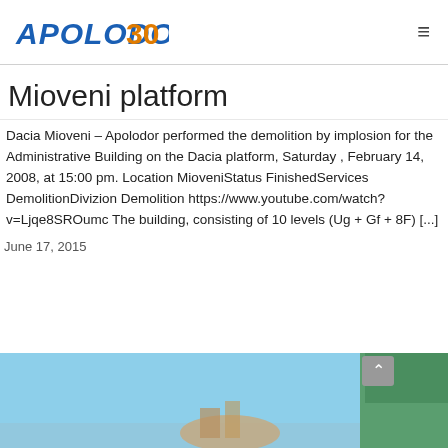APOLODOR 30
Mioveni platform
Dacia Mioveni – Apolodor performed the demolition by implosion for the Administrative Building on the Dacia platform, Saturday , February 14, 2008, at 15:00 pm. Location MioveniStatus FinishedServices DemolitionDivizion Demolition https://www.youtube.com/watch?v=Ljqe8SROumc The building, consisting of 10 levels (Ug + Gf + 8F) [...]
June 17, 2015
[Figure (photo): Bottom strip showing a partial outdoor scene with blue sky and trees on the right side, and what appears to be a demolished or construction structure in the center-left area.]